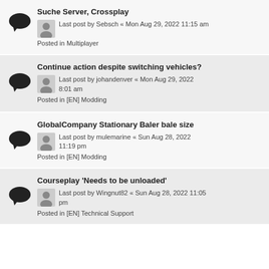Suche Server, Crossplay
Last post by Sebsch « Mon Aug 29, 2022 11:15 am
Posted in Multiplayer
Continue action despite switching vehicles?
Last post by johandenver « Mon Aug 29, 2022 8:01 am
Posted in [EN] Modding
GlobalCompany Stationary Baler bale size
Last post by mulemarine « Sun Aug 28, 2022 11:19 pm
Posted in [EN] Modding
Courseplay 'Needs to be unloaded'
Last post by Wingnut82 « Sun Aug 28, 2022 11:05 pm
Posted in [EN] Technical Support